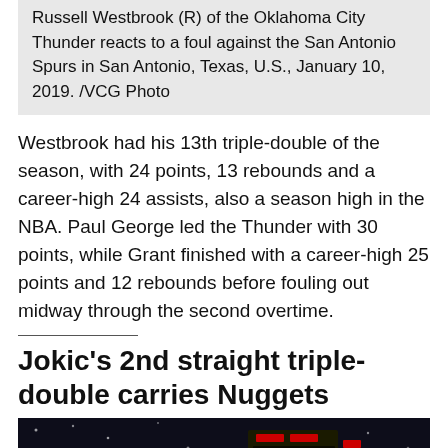Russell Westbrook (R) of the Oklahoma City Thunder reacts to a foul against the San Antonio Spurs in San Antonio, Texas, U.S., January 10, 2019. /VCG Photo
Westbrook had his 13th triple-double of the season, with 24 points, 13 rebounds and a career-high 24 assists, also a season high in the NBA. Paul George led the Thunder with 30 points, while Grant finished with a career-high 25 points and 12 rebounds before fouling out midway through the second overtime.
Jokic's 2nd straight triple-double carries Nuggets
[Figure (photo): Dark arena photo showing scoreboard display illuminated in red and green/yellow, dots of light visible against dark background, bottom portion of arena or court visible.]